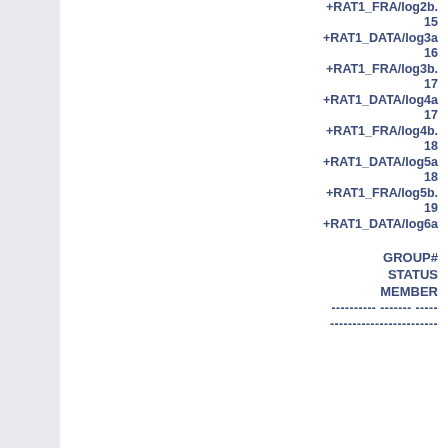+RAT1_FRA/log2b.
15
+RAT1_DATA/log3a
16
+RAT1_FRA/log3b.
17
+RAT1_DATA/log4a
17
+RAT1_FRA/log4b.
18
+RAT1_DATA/log5a
18
+RAT1_FRA/log5b.
19
+RAT1_DATA/log6a
GROUP#
STATUS
MEMBER
---------- ------- -----
------------------------